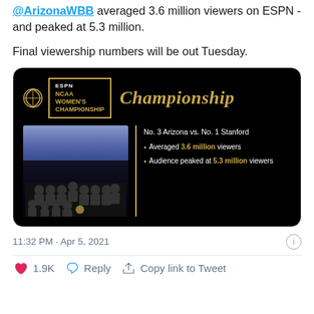@ArizonaWBB averaged 3.6 million viewers on ESPN - and peaked at 5.3 million.
Final viewership numbers will be out Tuesday.
[Figure (screenshot): ESPN NCAA Women's Championship card on black background showing: No. 3 Arizona vs. No. 1 Stanford. Averaged 3.6 million viewers. Audience peaked at 5.3 million viewers. Includes team photo on left side.]
11:32 PM · Apr 5, 2021
1.9K   Reply   Copy link to Tweet